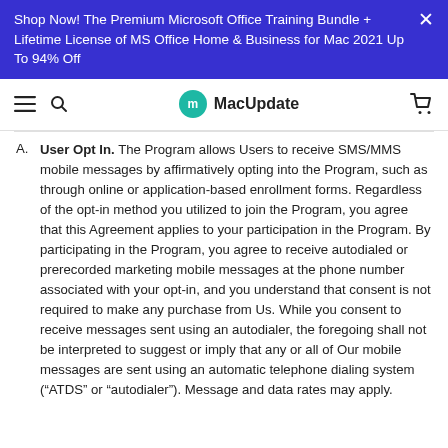Shop Now! The Premium Microsoft Office Training Bundle + Lifetime License of MS Office Home & Business for Mac 2021 Up To 94% Off
MacUpdate
A. User Opt In. The Program allows Users to receive SMS/MMS mobile messages by affirmatively opting into the Program, such as through online or application-based enrollment forms. Regardless of the opt-in method you utilized to join the Program, you agree that this Agreement applies to your participation in the Program. By participating in the Program, you agree to receive autodialed or prerecorded marketing mobile messages at the phone number associated with your opt-in, and you understand that consent is not required to make any purchase from Us. While you consent to receive messages sent using an autodialer, the foregoing shall not be interpreted to suggest or imply that any or all of Our mobile messages are sent using an automatic telephone dialing system (“ATDS” or “autodialer”). Message and data rates may apply.